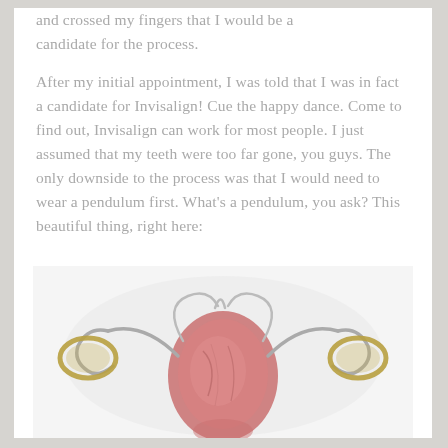and crossed my fingers that I would be a candidate for the process.
After my initial appointment, I was told that I was in fact a candidate for Invisalign! Cue the happy dance. Come to find out, Invisalign can work for most people. I just assumed that my teeth were too far gone, you guys. The only downside to the process was that I would need to wear a pendulum first. What's a pendulum, you ask? This beautiful thing, right here:
[Figure (photo): A dental pendulum appliance — a metal orthodontic device with rings and wire arms extending from a pink acrylic center piece, photographed on a white background.]